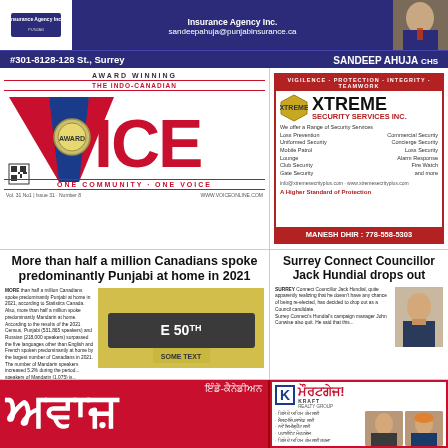[Figure (advertisement): Punjab Insurance Agency Inc. top banner ad with blue background, email sandeepahuja@punjabinsurance.ca, address #301-8128-128 St., Surrey (Payal Business centre), agent Sandeep Ahuja CHS, phone 604-996-6862]
[Figure (logo): The Indo-Canadian VOICE newspaper logo - Award Winning, One Community One Voice]
[Figure (advertisement): Xtreme Security Services Inc. ad - Vigilence Protection Integrity Teamwork, Manesh Dhir 778-558-5303]
More than half a million Canadians spoke predominantly Punjabi at home in 2021
MORE than half a million Canadians spoke predominantly Punjabi at home in 2021, according to Statistics Canada. Also, more than half a million spoke predominantly Mandarin at home. According to the results of the 2021 Census, Punjabi (531,865 speakers) and Russian (218,000 speakers) surpassed the five languages other than English and French spoken predominantly at home by the largest number of Canadians in 2021. The number of Mandarin speakers increased 5.2% during the period... speakers of Mandarin (1,075) is...
[Figure (photo): Street sign showing E 50th street on golden/yellow background]
Surrey Connect Councillor Jack Hundial drops out
SURREY Connect Councillor Jack Hundial, quite apparently realizing that he doesn't have any chance of being re-elected, has decided to drop out as a Council candidate. Surrey Connect's Hundial's campaign manager John Conwise also quit. He said that this...
[Figure (photo): Photo of a man in a suit - Surrey Connect Councillor Jack Hundial]
[Figure (logo): Indo-Canadian Awaz (ਅਵਾਜ਼) newspaper logo in red with Punjabi text ਇੰਡੋ-ਕੈਨੇਡੀਅਨ]
[Figure (advertisement): Kraft mortgage advertisement in Punjabi with ਮੌਰਟਗੇਜ! heading and two agent photos]